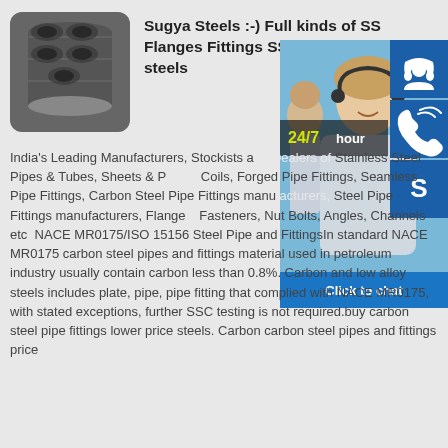[Figure (photo): Photo of dark metallic pipes bundled together, with a rounded square border]
Sugya Steels :-) Full kinds of SS Flanges Fittings SS Steel pipes and steels
[Figure (photo): Customer service chat widget showing a smiling woman with headset, 24/7 hour badge, headset icon, phone icon, Skype icon, and Click to chat button]
India's Leading Manufacturers, Stockists and Dealers of Stainless Steel Pipes & Tubes, Sheets & Plates, Coils, Forged Pipe Fittings, Seamless Pipe Fittings, Carbon Steel Pipe Fittings manufacturers, Steel Pipe Fittings manufacturers, Flanges, Fasteners, Nut Bolts, Angles, Channels etc. NACE MR0175/ISO 15156 Steel Pipe and FittingsIn standard NACE MR0175 carbon steel pipes and fittings material used in petroleum industry usually contain carbon less than 0.8%. Carbon and low alloy steels includes plate, pipe, pipe fitting that complied with NACE MR0175, with stated exceptions, further SSC testing is not required.buy carbon steel pipe fittings lower price steels. Carbon carbon steel pipes and fittings price